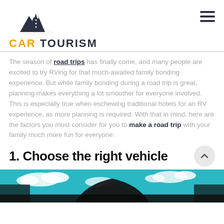CAR TOURISM
The season of road trips has finally come, and many people are excited to try RVing for that much-awaited family bonding experience. But while family bonding during a road trip is great, planning makes everything a lot smoother for everyone involved. This is especially true when eschewing traditional hotels for an RV experience, as more planning is required. With that in mind, here are the factors you must consider for you to make a road trip with your family much more fun for everyone:
1. Choose the right vehicle
[Figure (photo): Rearview mirror photo with sky and clouds visible, teal/blue tones]